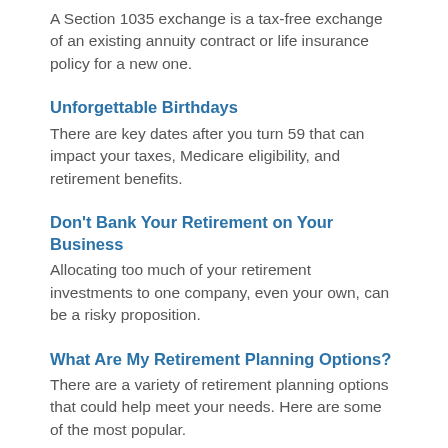A Section 1035 exchange is a tax-free exchange of an existing annuity contract or life insurance policy for a new one.
Unforgettable Birthdays
There are key dates after you turn 59 that can impact your taxes, Medicare eligibility, and retirement benefits.
Don't Bank Your Retirement on Your Business
Allocating too much of your retirement investments to one company, even your own, can be a risky proposition.
What Are My Retirement Planning Options?
There are a variety of retirement planning options that could help meet your needs. Here are some of the most popular.
Will Social Security Retire Before You Do?